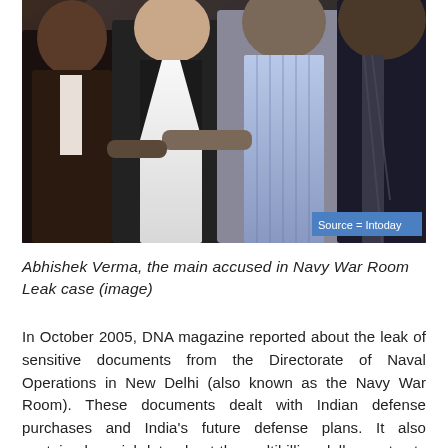[Figure (photo): Photograph of Abhishek Verma, the main accused in Navy War Room Leak case, with other individuals. Source badge reads 'Source = Intoday'.]
Abhishek Verma, the main accused in Navy War Room Leak case (image)
In October 2005, DNA magazine reported about the leak of sensitive documents from the Directorate of Naval Operations in New Delhi (also known as the Navy War Room). These documents dealt with Indian defense purchases and India's future defense plans. It also contained crucial data about the multibillion dollar contracts of the Indian Navy such as the Scorpene